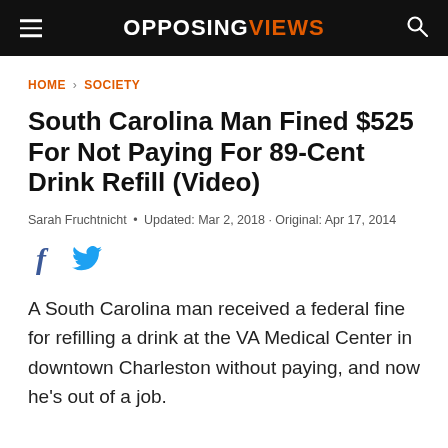OPPOSING VIEWS
HOME › SOCIETY
South Carolina Man Fined $525 For Not Paying For 89-Cent Drink Refill (Video)
Sarah Fruchtnicht • Updated: Mar 2, 2018 · Original: Apr 17, 2014
A South Carolina man received a federal fine for refilling a drink at the VA Medical Center in downtown Charleston without paying, and now he's out of a job.